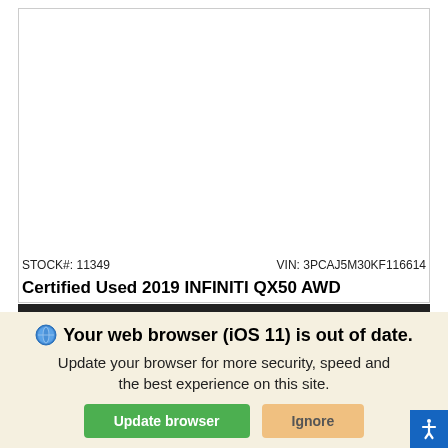[Figure (screenshot): White area representing a car listing image placeholder with a border box]
STOCK#: 11349    VIN: 3PCAJ5M30KF116614
Certified Used 2019 INFINITI QX50 AWD
Your web browser (iOS 11) is out of date. Update your browser for more security, speed and the best experience on this site.
Update browser   Ignore